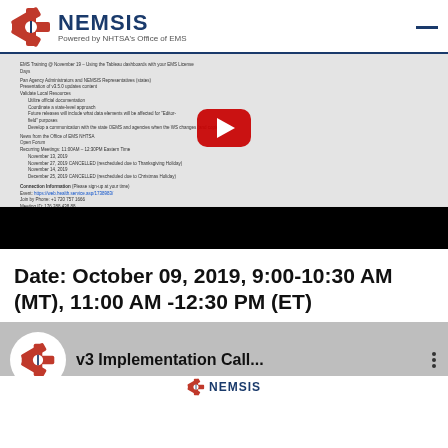[Figure (logo): NEMSIS logo with star emblem and text 'Powered by NHTSA's Office of EMS']
[Figure (screenshot): YouTube video embed showing a NEMSIS agenda document with a red play button overlay and black bar at bottom]
Date: October 09, 2019, 9:00-10:30 AM (MT), 11:00 AM -12:30 PM (ET)
[Figure (screenshot): YouTube video thumbnail showing NEMSIS logo circle, title 'v3 Implementation Call...', three-dot menu, and NEMSIS logo at bottom]